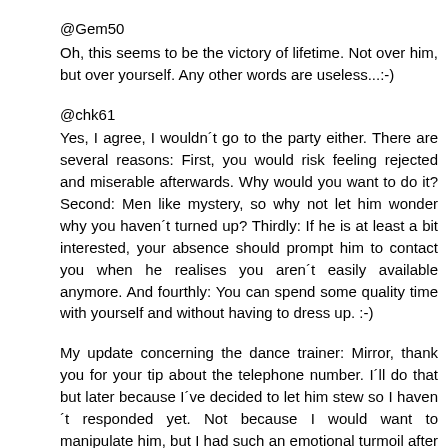@Gem50
Oh, this seems to be the victory of lifetime. Not over him, but over yourself. Any other words are useless...:-)
@chk61
Yes, I agree, I wouldn´t go to the party either. There are several reasons: First, you would risk feeling rejected and miserable afterwards. Why would you want to do it? Second: Men like mystery, so why not let him wonder why you haven´t turned up? Thirdly: If he is at least a bit interested, your absence should prompt him to contact you when he realises you aren´t easily available anymore. And fourthly: You can spend some quality time with yourself and without having to dress up. :-)
My update concerning the dance trainer: Mirror, thank you for your tip about the telephone number. I´ll do that but later because I´ve decided to let him stew so I haven´t responded yet. Not because I would want to manipulate him, but I had such an emotional turmoil after meeting him that I just couldn´t imagine seeing him again in that state. Now I have calmed down and am ready for further